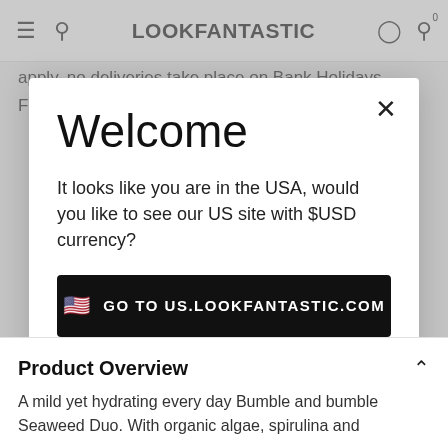LOOKFANTASTIC
apply, no deliveries take place on Bank Holidays. Further delivery information can be found here.
Welcome
It looks like you are in the USA, would you like to see our US site with $USD currency?
GO TO US.LOOKFANTASTIC.COM
No Thanks, Stay on LOOKFANTASTIC.IE
Product Overview
A mild yet hydrating every day Bumble and bumble Seaweed Duo. With organic algae, spirulina and